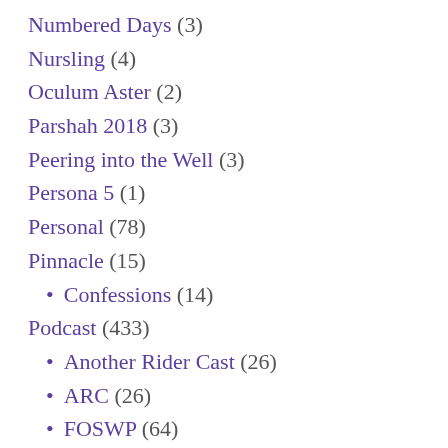Numbered Days (3)
Nursling (4)
Oculum Aster (2)
Parshah 2018 (3)
Peering into the Well (3)
Persona 5 (1)
Personal (78)
Pinnacle (15)
• Confessions (14)
Podcast (433)
• Another Rider Cast (26)
• ARC (26)
• FOSWP (64)
• Going Ultra_2 (84)
• GU2 (85)
• Half Boiled (4)